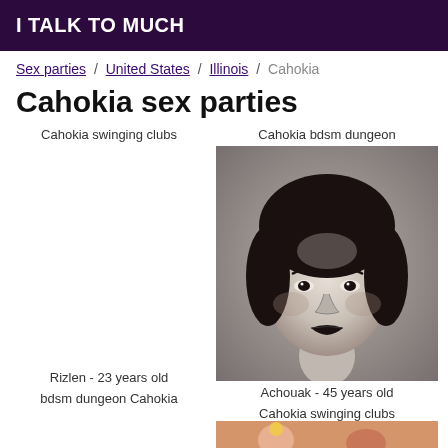I TALK TO MUCH
Sex parties / United States / Illinois / Cahokia
Cahokia sex parties
Cahokia swinging clubs
Cahokia bdsm dungeon
[Figure (photo): Black and white portrait photo of a woman, approximately 45 years old, with dark curly hair and dark lipstick, styled in a 1920s-1930s era fashion.]
Rizlen - 23 years old
Achouak - 45 years old
bdsm dungeon Cahokia
Cahokia swinging clubs
[Figure (photo): Partial image showing hands or feet with colored nail polish, cropped at bottom of page.]